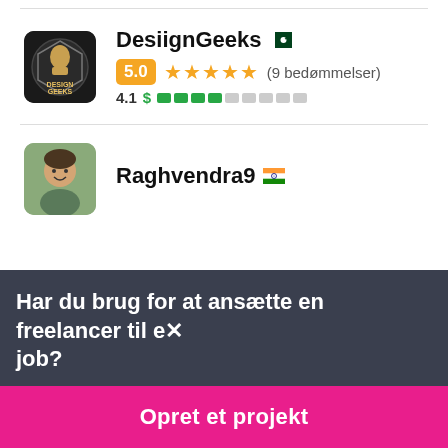[Figure (screenshot): Freelancer profile card for DesiignGeeks with Pakistan flag, 5.0 star rating (9 reviews), and skill score 4.1 with dollar bar indicator]
DesiignGeeks
5.0 ★★★★★ (9 bedømmelser)
4.1 $ ████░░░░░
[Figure (photo): Avatar photo of Raghvendra9 with Indian flag]
Raghvendra9
Har du brug for at ansætte en freelancer til et job?
Opret et projekt